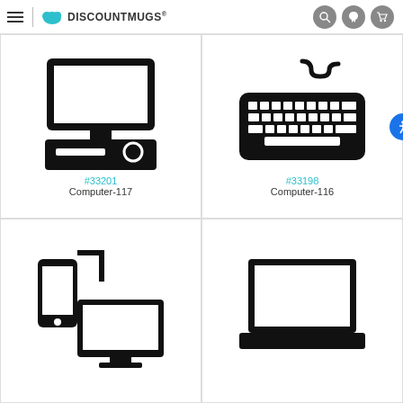DiscountMugs
[Figure (illustration): Black icon of a desktop computer with monitor and tower/base unit]
#33201
Computer-117
[Figure (illustration): Black icon of a computer keyboard with cable]
#33198
Computer-116
[Figure (illustration): Black icon of a smartphone and desktop monitor (responsive design icons)]
[Figure (illustration): Black icon of a laptop computer]